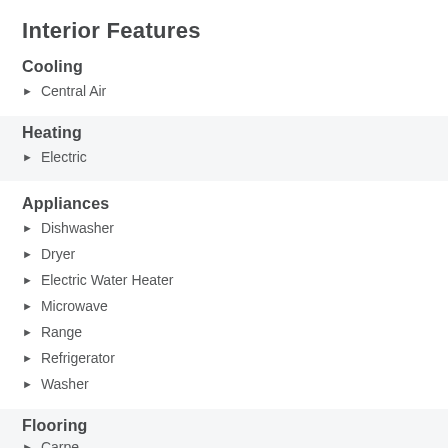Interior Features
Cooling
Central Air
Heating
Electric
Appliances
Dishwasher
Dryer
Electric Water Heater
Microwave
Range
Refrigerator
Washer
Flooring
Carpet